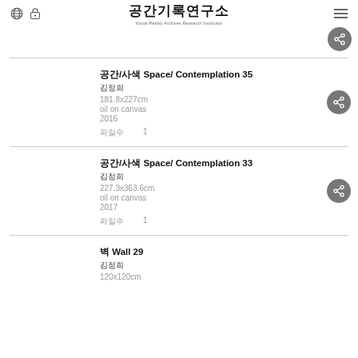공간기록연구소 Visual Reality Archives Research Institution
공간/사색 Space/ Contemplation 35
김정희
181.8x227cm
oil on canvas
2016
파일수  1
공간/사색 Space/ Contemplation 33
김정희
227.3x363.6cm
oil on canvas
2017
파일수  1
벽 Wall 29
김정희
120x120cm